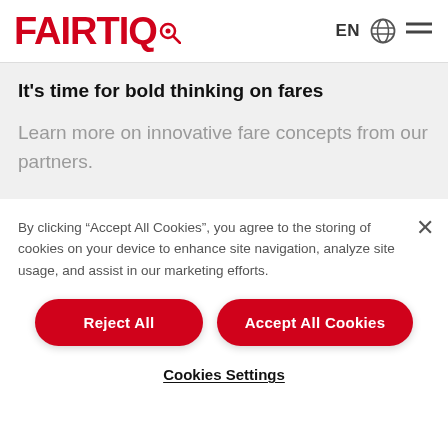FAIRTIQ  EN  [globe icon]  [menu icon]
It's time for bold thinking on fares
Learn more on innovative fare concepts from our partners.
By clicking "Accept All Cookies", you agree to the storing of cookies on your device to enhance site navigation, analyze site usage, and assist in our marketing efforts.
Reject All
Accept All Cookies
Cookies Settings